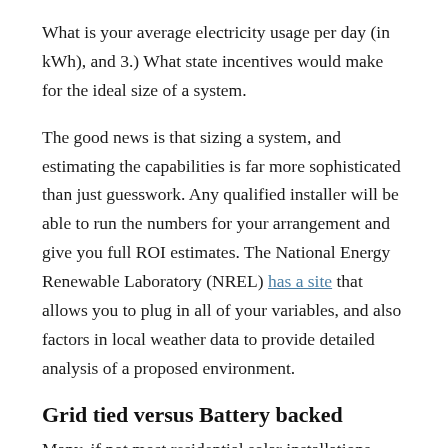What is your average electricity usage per day (in kWh), and 3.) What state incentives would make for the ideal size of a system.
The good news is that sizing a system, and estimating the capabilities is far more sophisticated than just guesswork. Any qualified installer will be able to run the numbers for your arrangement and give you full ROI estimates. The National Energy Renewable Laboratory (NREL) has a site that allows you to plug in all of your variables, and also factors in local weather data to provide detailed analysis of a proposed environment.
Grid tied versus Battery backed
Many, if not most residential solar installations these days are grid tied systems. This means that the solar